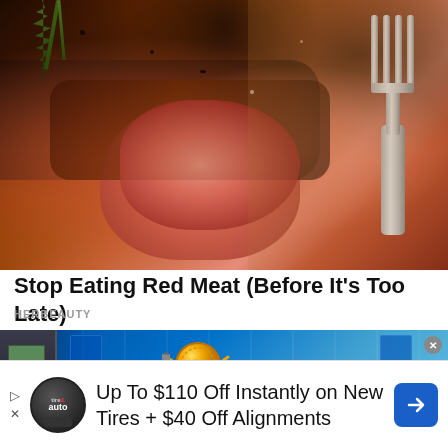[Figure (photo): Close-up photo of a grilled/seared steak cut open showing pink interior, with rosemary garnish and a fork visible on the right side, on a wooden cutting board]
Stop Eating Red Meat (Before It's Too Late)
HERBEAUTY
[Figure (illustration): Animated-style illustration of a gold coin character with arms and legs running or jumping in a blue room, with an ATM on the left and a dark vehicle at the bottom right]
Up To $110 Off Instantly on New Tires + $40 Off Alignments